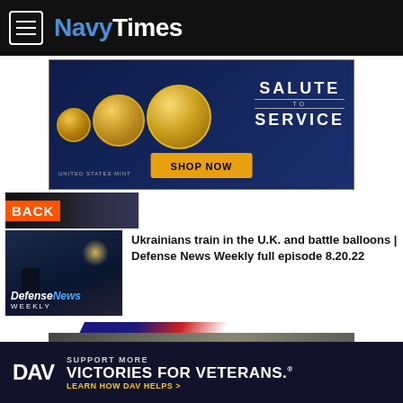NavyTimes
[Figure (illustration): US Mint advertisement banner showing gold coins and text 'Salute to Service' with 'Shop Now' button]
[Figure (photo): Partial image with 'BACK' label overlay]
[Figure (screenshot): Defense News Weekly thumbnail with soldier silhouette]
Ukrainians train in the U.K. and battle balloons | Defense News Weekly full episode 8.20.22
[Figure (illustration): Advertisement with diagonal color stripe and text 'You Have a Requirement.']
[Figure (illustration): DAV advertisement: Support More Victories for Veterans. Learn How DAV Helps >]